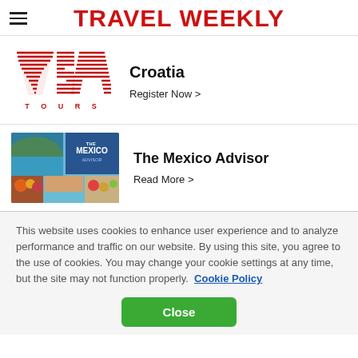TRAVEL WEEKLY
[Figure (logo): VSA Tours logo — red striped letters VSA with TOURS below]
Croatia
Register Now >
[Figure (photo): The Mexico Advisor — collage of Mexico travel photos with The Mexico Advisor branding overlay]
The Mexico Advisor
Read More >
This website uses cookies to enhance user experience and to analyze performance and traffic on our website. By using this site, you agree to the use of cookies. You may change your cookie settings at any time, but the site may not function properly.  Cookie Policy
Close